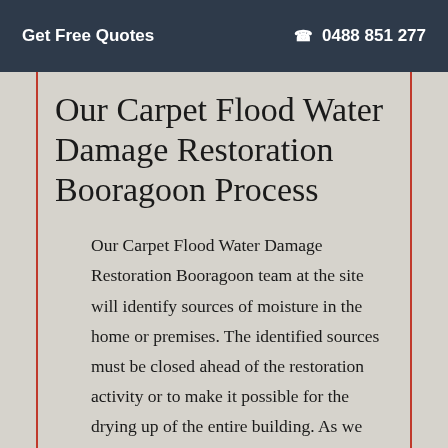Get Free Quotes  ☎ 0488 851 277
Our Carpet Flood Water Damage Restoration Booragoon Process
Our Carpet Flood Water Damage Restoration Booragoon team at the site will identify sources of moisture in the home or premises. The identified sources must be closed ahead of the restoration activity or to make it possible for the drying up of the entire building. As we check for the source and stop it we also look out for any contaminated water.
In case your home has been badly damaged, such that it is all over before you do an in...